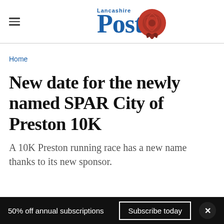Lancashire Post
Home
New date for the newly named SPAR City of Preston 10K
A 10K Preston running race has a new name thanks to its new sponsor.
50% off annual subscriptions  Subscribe today